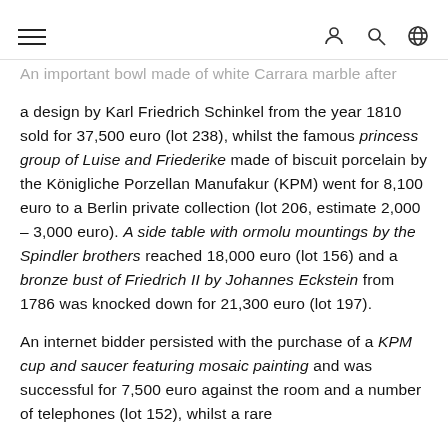[hamburger menu] [user icon] [search icon] [globe icon]
An important bowl made of white Carrara marble after a design by Karl Friedrich Schinkel from the year 1810 sold for 37,500 euro (lot 238), whilst the famous princess group of Luise and Friederike made of biscuit porcelain by the Königliche Porzellan Manufakur (KPM) went for 8,100 euro to a Berlin private collection (lot 206, estimate 2,000 – 3,000 euro). A side table with ormolu mountings by the Spindler brothers reached 18,000 euro (lot 156) and a bronze bust of Friedrich II by Johannes Eckstein from 1786 was knocked down for 21,300 euro (lot 197).
An internet bidder persisted with the purchase of a KPM cup and saucer featuring mosaic painting and was successful for 7,500 euro against the room and a number of telephones (lot 152), whilst a rare